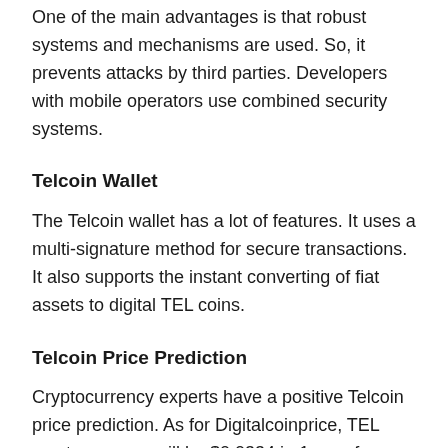One of the main advantages is that robust systems and mechanisms are used. So, it prevents attacks by third parties. Developers with mobile operators use combined security systems.
Telcoin Wallet
The Telcoin wallet has a lot of features. It uses a multi-signature method for secure transactions. It also supports the instant converting of fiat assets to digital TEL coins.
Telcoin Price Prediction
Cryptocurrency experts have a positive Telcoin price prediction. As for Digitalcoinprice, TEL cryptocurrency will be $0.0334 in 1 year from now. But a WalletInvestor even believes that TEL coin price will be